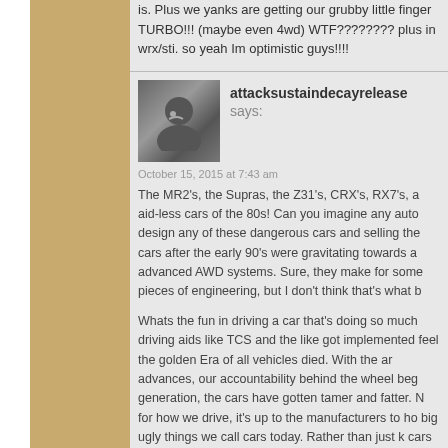is. Plus we yanks are getting our grubby little finger TURBO!!! (maybe even 4wd) WTF???????? plus wrx/sti. so yeah Im optimistic guys!!!!
attacksustaindecayrelease says:
October 15, 2015 at 7:43 am
The MR2's, the Supras, the Z31's, CRX's, RX7's, a aid-less cars of the 80s! Can you imagine any auto design any of these dangerous cars and selling the cars after the early 90's were gravitating towards a advanced AWD systems. Sure, they make for some pieces of engineering, but I don't think that's what b
Whats the fun in driving a car that's doing so much driving aids like TCS and the like got implemented feel the golden Era of all vehicles died. With the ar advances, our accountability behind the wheel beg generation, the cars have gotten tamer and fatter. for how we drive, it's up to the manufacturers to h big ugly things we call cars today. Rather than just cars upright, every car on the roads has to have ro the driver accountable for avoiding rear ending folk you, and in some cases stop for you. Every single As if it's so flipping difficult to watch where you're h